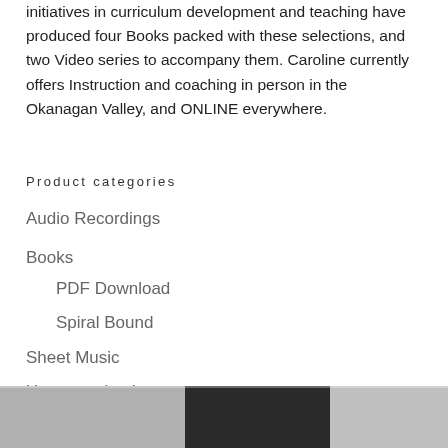initiatives in curriculum development and teaching have produced four Books packed with these selections, and two Video series to accompany them. Caroline currently offers Instruction and coaching in person in the Okanagan Valley, and ONLINE everywhere.
Product categories
Audio Recordings
Books
PDF Download
Spiral Bound
Sheet Music
Uncategorized
Video Lessons
[Figure (photo): Partial view of a photo at the bottom of the page, showing what appears to be a person, mostly cropped out]